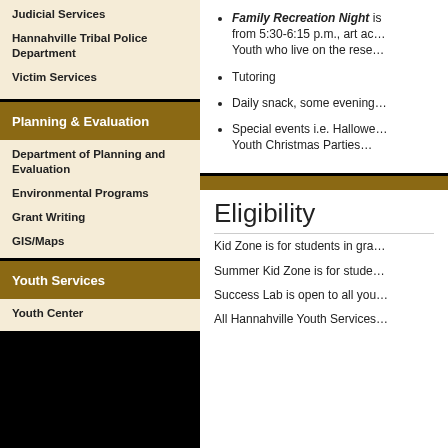Judicial Services
Hannahville Tribal Police Department
Victim Services
Planning & Evaluation
Department of Planning and Evaluation
Environmental Programs
Grant Writing
GIS/Maps
Youth Services
Youth Center
Family Recreation Night is … from 5:30-6:15 p.m., art ac… Youth who live on the rese…
Tutoring
Daily snack, some evening…
Special events i.e. Hallowe… Youth Christmas Parties…
Eligibility
Kid Zone is for students in gra…
Summer Kid Zone is for stude…
Success Lab is open to all you…
All Hannahville Youth Services…